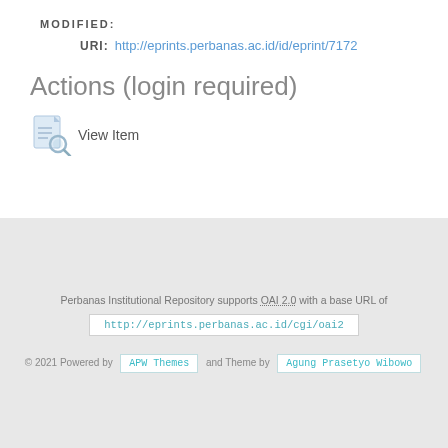MODIFIED:
URI: http://eprints.perbanas.ac.id/id/eprint/7172
Actions (login required)
[Figure (illustration): View Item icon - document with magnifying glass]
View Item
Perbanas Institutional Repository supports OAI 2.0 with a base URL of http://eprints.perbanas.ac.id/cgi/oai2
© 2021 Powered by APW Themes and Theme by Agung Prasetyo Wibowo